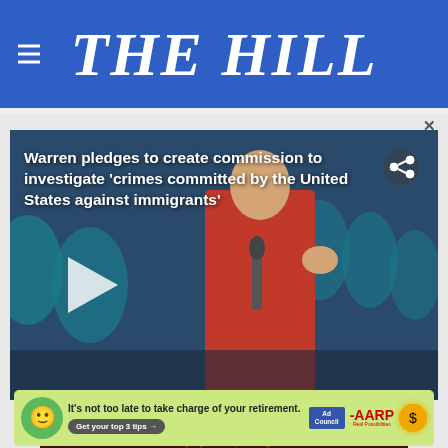THE HILL
[Figure (screenshot): Video thumbnail showing a woman in a red jacket holding a microphone, speaking at an event. Background has decorative circular patterns in teal/blue. A play button is visible on the left side. Share icon in top right corner.]
Warren pledges to create commission to investigate 'crimes committed by the United States against immigrants'
[Figure (screenshot): Second video thumbnail showing fire/flames against a dark background]
[Figure (other): Advertisement banner: It's not too late to take charge of your retirement. Get your top 3 tips. Ad Council and AARP logos.]